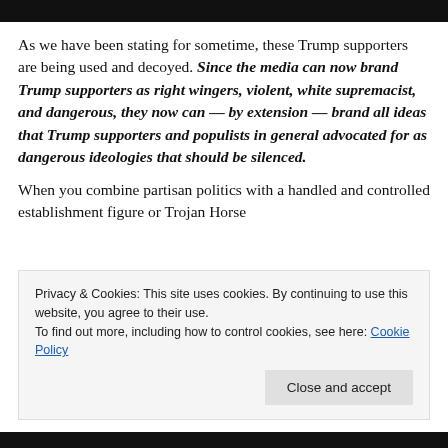[Figure (other): Black header bar at top of page]
As we have been stating for sometime, these Trump supporters are being used and decoyed. Since the media can now brand Trump supporters as right wingers, violent, white supremacist, and dangerous, they now can — by extension — brand all ideas that Trump supporters and populists in general advocated for as dangerous ideologies that should be silenced.
When you combine partisan politics with a handled and controlled establishment figure or Trojan Horse
Privacy & Cookies: This site uses cookies. By continuing to use this website, you agree to their use.
To find out more, including how to control cookies, see here: Cookie Policy

Close and accept
[Figure (other): Black footer bar at bottom of page]